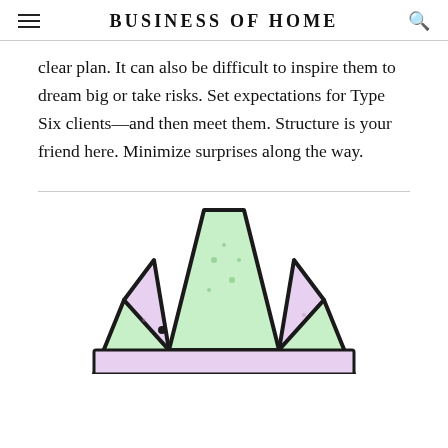BUSINESS OF HOME
clear plan. It can also be difficult to inspire them to dream big or take risks. Set expectations for Type Six clients—and then meet them. Structure is your friend here. Minimize surprises along the way.
[Figure (illustration): Illustration of a crown with green and pink coloring, drawn in a sketch style with thick black outlines, partially visible at the bottom of the page.]